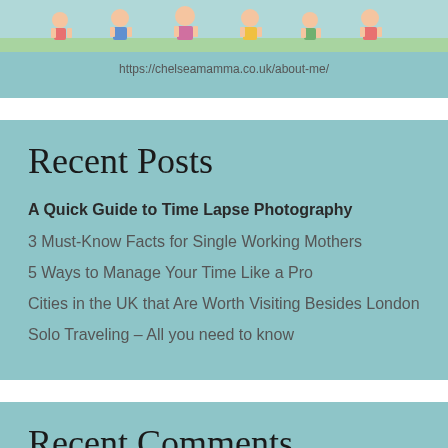[Figure (illustration): Partial view of a cartoon/illustrated image showing children figures at the top of the page]
https://chelseamamma.co.uk/about-me/
Recent Posts
A Quick Guide to Time Lapse Photography
3 Must-Know Facts for Single Working Mothers
5 Ways to Manage Your Time Like a Pro
Cities in the UK that Are Worth Visiting Besides London
Solo Traveling – All you need to know
Recent Comments